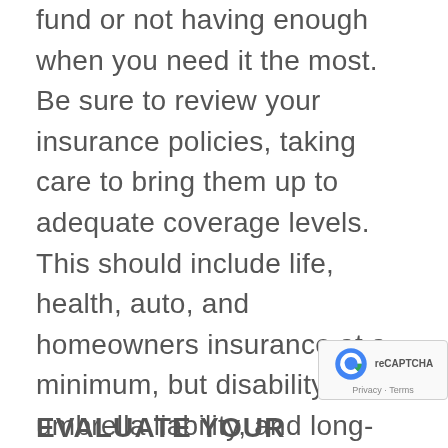fund or not having enough when you need it the most. Be sure to review your insurance policies, taking care to bring them up to adequate coverage levels. This should include life, health, auto, and homeowners insurance at a minimum, but disability, umbrella liability, and long-term care coverage should be considered as well. These risks are often overlooked and can be devastating to a financial plan. Making sure you are adequately covered now will save you time, money, and energy in the future.
EVALUATE YOUR